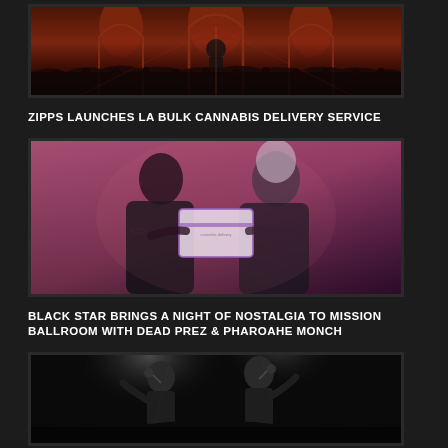[Figure (photo): Partial concert photo showing gothic cathedral-style stage with dramatic red/orange lighting and crowd, cropped at top]
ZIPPS LAUNCHES LA BULK CANNABIS DELIVERY SERVICE
[Figure (photo): Two people facing each other holding a white/purple box against a pink/mauve background; cannabis delivery promotional image]
BLACK STAR BRINGS A NIGHT OF NOSTALGIA TO MISSION BALLROOM WITH DEAD PREZ & PHAROAHE MONCH
[Figure (photo): Black and white concert photo showing performers on stage, partially cropped at bottom]